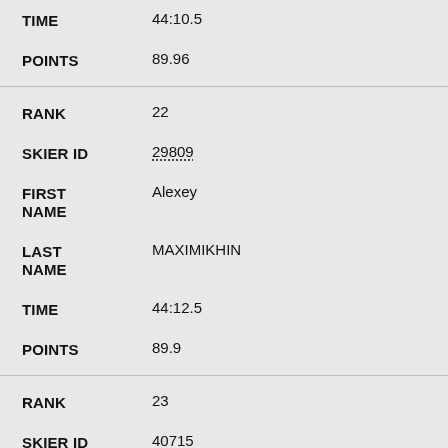| Field | Value |
| --- | --- |
| TIME | 44:10.5 |
| POINTS | 89.96 |
| RANK | 22 |
| SKIER ID | 29809 |
| FIRST NAME | Alexey |
| LAST NAME | MAXIMIKHIN |
| TIME | 44:12.5 |
| POINTS | 89.9 |
| RANK | 23 |
| SKIER ID | 40715 |